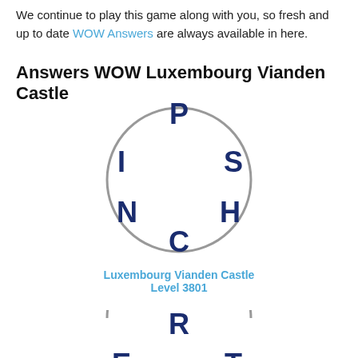We continue to play this game along with you, so fresh and up to date WOW Answers are always available in here.
Answers WOW Luxembourg Vianden Castle
[Figure (illustration): Circle with letters P, I, S, N, H, C arranged inside representing a word puzzle for Luxembourg Vianden Castle Level 3801]
Luxembourg Vianden Castle
Level 3801
[Figure (illustration): Circle with letters R, E, T, T, A arranged inside representing a word puzzle (partially visible)]